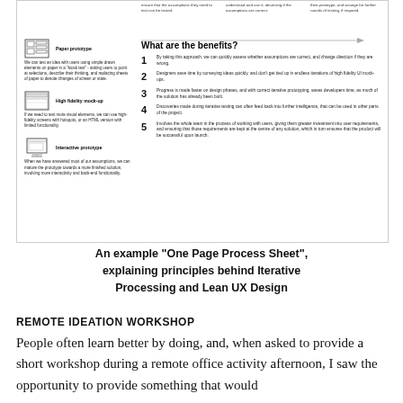[Figure (infographic): One Page Process Sheet showing prototype types on the left (Paper prototype, High fidelity mock-up, Interactive prototype) and numbered benefits 1-5 on the right under 'What are the benefits?' heading, with partial top row text and an arrow line.]
An example “One Page Process Sheet”, explaining principles behind Iterative Processing and Lean UX Design
REMOTE IDEATION WORKSHOP
People often learn better by doing, and, when asked to provide a short workshop during a remote office activity afternoon, I saw the opportunity to provide something that would